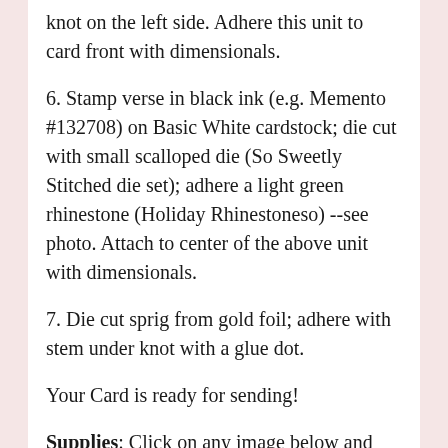knot on the left side. Adhere this unit to card front with dimensionals.
6. Stamp verse in black ink (e.g. Memento #132708) on Basic White cardstock; die cut with small scalloped die (So Sweetly Stitched die set); adhere a light green rhinestone (Holiday Rhinestoneso) --see photo. Attach to center of the above unit with dimensionals.
7. Die cut sprig from gold foil; adhere with stem under knot with a glue dot.
Your Card is ready for sending!
Supplies: Click on any image below and you'll